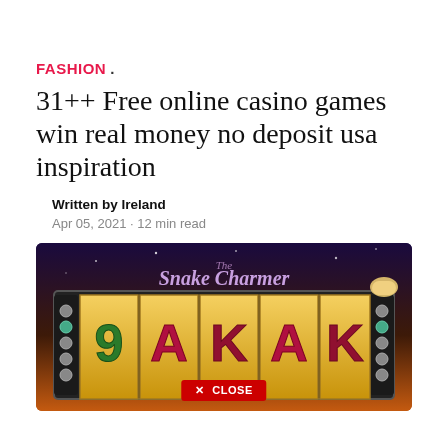FASHION .
31++ Free online casino games win real money no deposit usa inspiration
Written by Ireland
Apr 05, 2021 · 12 min read
[Figure (photo): Screenshot of The Snake Charmer slot machine game showing reels with symbols 9, A, K, A, K on golden background with purple/orange sky, and a red CLOSE button overlay]